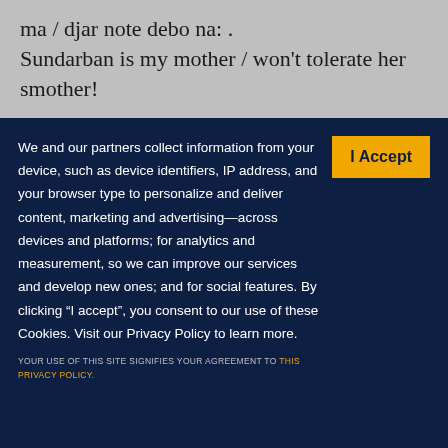ma / djar note debo na: .
Sundarban is my mother / won't tolerate her smother!
We and our partners collect information from your device, such as device identifiers, IP address, and your browser type to personalize and deliver content, marketing and advertising—across devices and platforms; for analytics and measurement, so we can improve our services and develop new ones; and for social features. By clicking "I accept", you consent to our use of these Cookies. Visit our Privacy Policy to learn more.
YOUR USE OF THIS SITE SIGNIFIES YOUR AGREEMENT TO THIS PRIVACY POLICY.